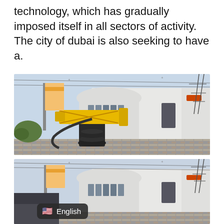technology, which has gradually imposed itself in all sectors of activity. The city of dubai is also seeking to have a.
[Figure (photo): Outdoor photo of a white modern building with curved walls, a large yellow 3D printing robotic arm in the foreground on a patterned brick plaza, banners/flags on the left, power lines and a transmission tower visible in the background.]
[Figure (photo): Second photo of the same scene — white modern building with curved walls, banners/flags on the left, power lines and transmission tower in background, with an 'English' language selector badge overlaid at the bottom left.]